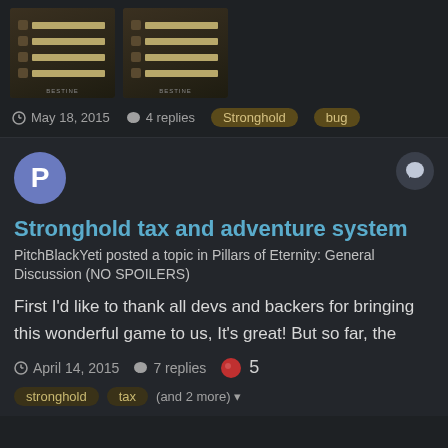[Figure (screenshot): Two thumbnail screenshots of a game UI showing scrollable lists with golden-colored text bars and icons, on dark parchment-style backgrounds]
May 18, 2015   4 replies   Stronghold   bug
Stronghold tax and adventure system
PitchBlackYeti posted a topic in Pillars of Eternity: General Discussion (NO SPOILERS)
First I'd like to thank all devs and backers for bringing this wonderful game to us, It's great! But so far, the
April 14, 2015   7 replies   5
stronghold   tax   (and 2 more)